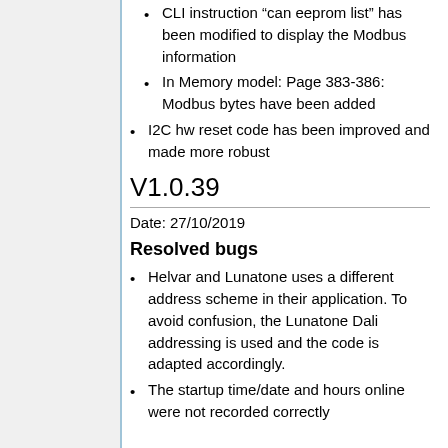CLI instruction “can eeprom list” has been modified to display the Modbus information
In Memory model: Page 383-386: Modbus bytes have been added
I2C hw reset code has been improved and made more robust
V1.0.39
Date: 27/10/2019
Resolved bugs
Helvar and Lunatone uses a different address scheme in their application. To avoid confusion, the Lunatone Dali addressing is used and the code is adapted accordingly.
The startup time/date and hours online were not recorded correctly